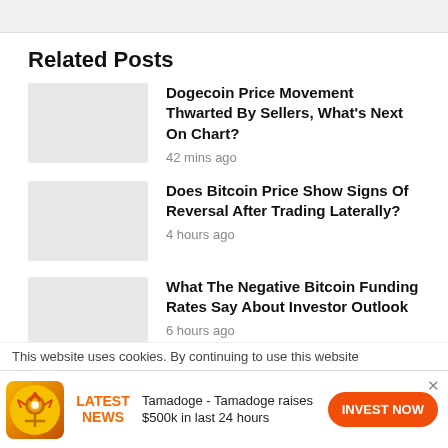Related Posts
[Figure (photo): Thumbnail image placeholder for Dogecoin article]
Dogecoin Price Movement Thwarted By Sellers, What's Next On Chart?
42 mins ago
[Figure (photo): Thumbnail image placeholder for Bitcoin reversal article]
Does Bitcoin Price Show Signs Of Reversal After Trading Laterally?
4 hours ago
[Figure (photo): Thumbnail image placeholder for Bitcoin funding rates article]
What The Negative Bitcoin Funding Rates Say About Investor Outlook
6 hours ago
This website uses cookies. By continuing to use this website
LATEST NEWS  Tamadoge - Tamadoge raises $500k in last 24 hours  INVEST NOW